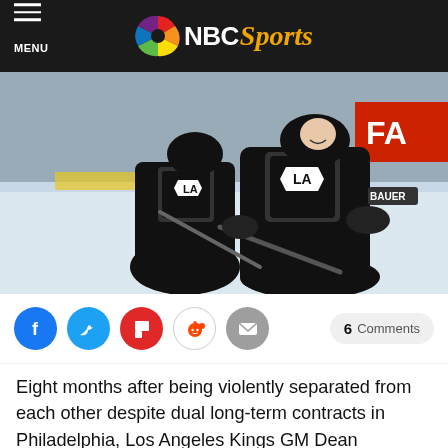NBC Sports
[Figure (photo): Two LA Kings hockey players in black uniforms skating on ice during a game or warmup, with one player smiling in the foreground holding a hockey stick.]
Eight months after being violently separated from each other despite dual long-term contracts in Philadelphia, Los Angeles Kings GM Dean Lombardi decided to pull the trigger on a deal that reunited Jeff Carter and Mike